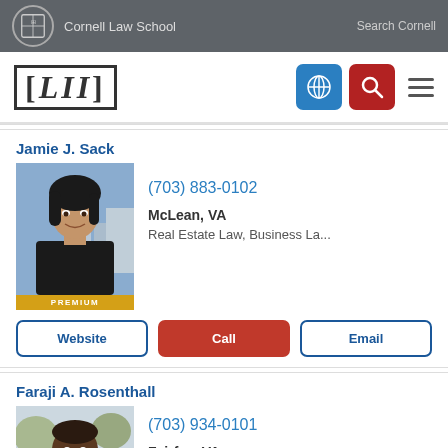Cornell Law School | Search Cornell
[Figure (logo): LII Legal Information Institute logo with Cornell Law School branding, navigation icons]
Jamie J. Sack
[Figure (photo): Professional headshot of Jamie J. Sack, female attorney with dark hair, smiling, outdoor background]
(703) 883-0102
McLean, VA
Real Estate Law, Business La...
Website | Call | Email
Faraji A. Rosenthall
[Figure (photo): Professional headshot of Faraji A. Rosenthall, male attorney smiling, light background]
(703) 934-0101
Fairfax, VA
Criminal Law, Domestic Viole...